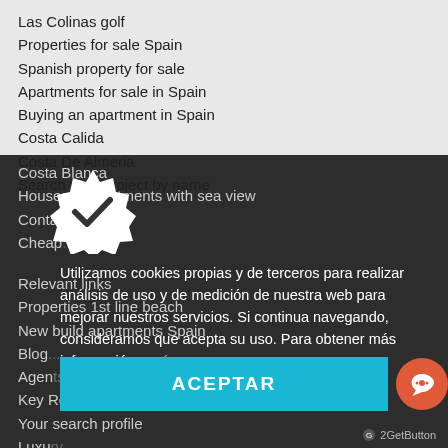Las Colinas golf
Properties for sale Spain
Spanish property for sale
Apartments for sale in Spain
Buying an apartment in Spain
Costa Calida
Costa De Almeria
Search your project by name
Costa Blanca
Houses & apartments with sea view
Contact
Cheap...
Relevant links
Properties 1st line beach
New build apartments Spain
Blog
Agents
Key Ready properties
Your search profile
Luxury...
GOLF...
About...
Discover all promotions
Utilizamos cookies propias y de terceros para realizar análisis de uso y de medición de nuestra web para mejorar nuestros servicios. Si continua navegando, consideramos que acepta su uso. Para obtener más información aquí.
ACEPTAR
GetButton